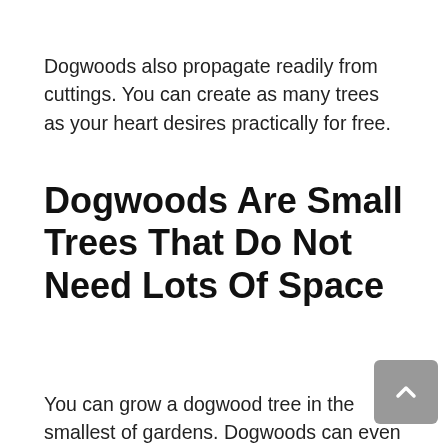Dogwoods also propagate readily from cuttings. You can create as many trees as your heart desires practically for free.
Dogwoods Are Small Trees That Do Not Need Lots Of Space
You can grow a dogwood tree in the smallest of gardens. Dogwoods can even be grown in a large pot. These compact trees only grow to about 15-20 feet in height.